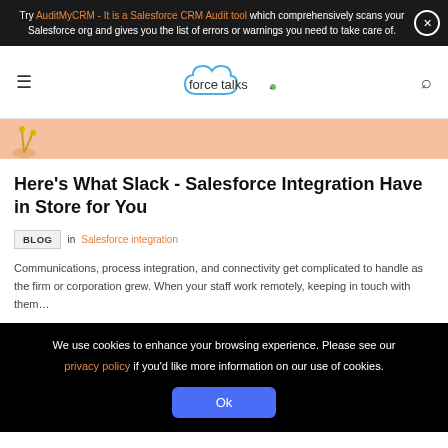Try AuditMyCRM - It is a Salesforce CRM Audit tool which comprehensively scans your Salesforce org and gives you the list of errors or warnings you need to take care of.
[Figure (logo): forcetalks. logo with cloud outline in blue and green dot]
Here's What Slack - Salesforce Integration Have in Store for You
BLOG in Salesforce integration
Communications, process integration, and connectivity get complicated to handle as the firm or corporation grew. When your staff work remotely, keeping in touch with them...
We use cookies to enhance your browsing experience. Please see our privacy policy if you'd like more information on our use of cookies.